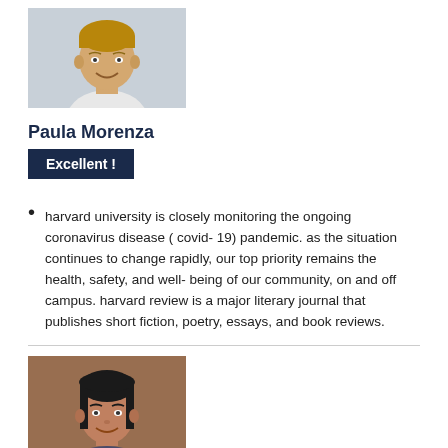[Figure (photo): Profile photo of a young man smiling, light background]
Paula Morenza
Excellent !
harvard university is closely monitoring the ongoing coronavirus disease ( covid- 19) pandemic. as the situation continues to change rapidly, our top priority remains the health, safety, and well- being of our community, on and off campus. harvard review is a major literary journal that publishes short fiction, poetry, essays, and book reviews.
[Figure (photo): Profile photo of a woman smiling, outdoor background]
Eva Pinlo